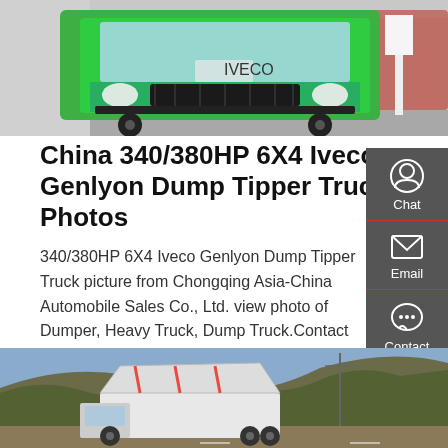[Figure (photo): Front view of a green Iveco Genlyon dump truck at an exhibition/showroom setting]
China 340/380HP 6X4 Iveco Genlyon Dump Tipper Truck Photos
340/380HP 6X4 Iveco Genlyon Dump Tipper Truck picture from Chongqing Asia-China Automobile Sales Co., Ltd. view photo of Dumper, Heavy Truck, Dump Truck.Contact China Suppliers for More Products and Price.
[Figure (infographic): Sidebar with Chat, Email, and Contact icons on dark grey background]
GET A QUOTE
[Figure (photo): Dump truck with raised tipper bed in a mountainous rural landscape]